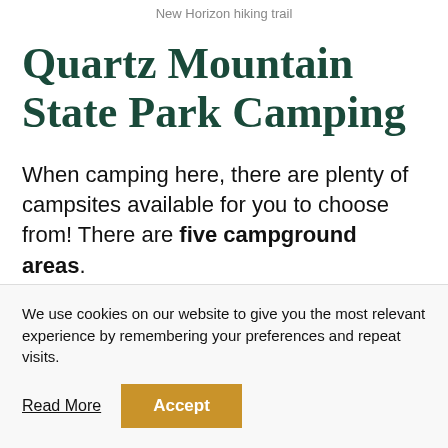New Horizon hiking trail
Quartz Mountain State Park Camping
When camping here, there are plenty of campsites available for you to choose from! There are five campground areas.
In addition, there are primitive sites for tent
We use cookies on our website to give you the most relevant experience by remembering your preferences and repeat visits.